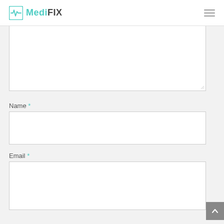MediFIX
[Figure (screenshot): Large textarea input field (partially visible, cropped at top), showing an empty white text input area with a resize handle at bottom right]
Name *
[Figure (screenshot): Empty white input field for Name]
Email *
[Figure (screenshot): Empty white input field for Email]